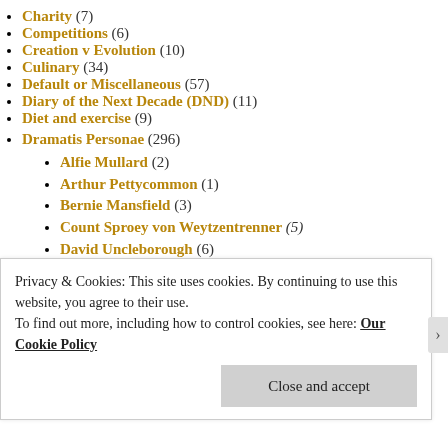Charity (7)
Competitions (6)
Creation v Evolution (10)
Culinary (34)
Default or Miscellaneous (57)
Diary of the Next Decade (DND) (11)
Diet and exercise (9)
Dramatis Personae (296)
Alfie Mullard (2)
Arthur Pettycommon (1)
Bernie Mansfield (3)
Count Sproey von Weytzentrenner (5)
David Uncleborough (6)
L. E. Mentell (1)
Lord Brucey (3)
Lucjan O'Poworocki (10)
Paddy O' Donahue (6)
Privacy & Cookies: This site uses cookies. By continuing to use this website, you agree to their use.
To find out more, including how to control cookies, see here: Our Cookie Policy
Close and accept